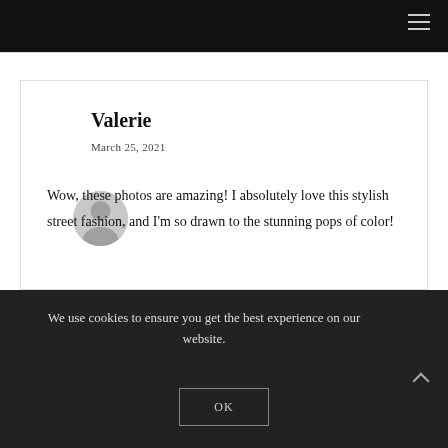Valerie
March 25, 2021
Wow, these photos are amazing! I absolutely love this stylish street fashion, and I'm so drawn to the stunning pops of color!
We use cookies to ensure you get the best experience on our website.
OK